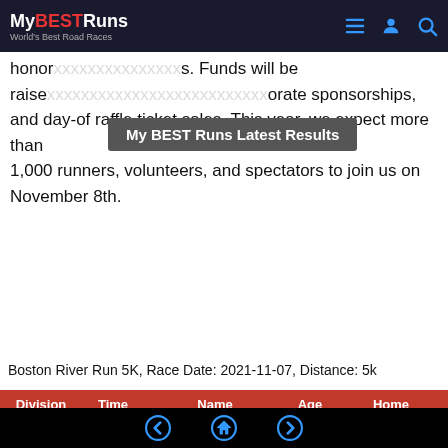My BEST Runs — World's Best Road Races
honor... s. Funds will be raised ... orate sponsorships, and day-of raffle ticket sales. This year, we expect more than 1,000 runners, volunteers, and spectators to join us on November 8th.
My BEST Runs Latest Results
Boston River Run 5K, Race Date: 2021-11-07, Distance: 5k
| Division | Time | Name | Age | Home |
| --- | --- | --- | --- | --- |
| Male | 16:52 | Sean Kineavy | 25 | Dedham, MA |
| 2nd Male | 18:07 | Rogerio Silva | 50 | Everett, MA |
| 3rd Male | 18:22 | Winston Vaughan | 40 | Dorchester Centre, MA |
| 4th Male | 18:49 | Toshio Yuki | 15 | Lexington,MA |
| Female | 19:35 | Elizabeth Hannon |  | Waltham, MA |
| 2nd Female | 21:13 | Meredith Mikell | 39 | Ashburnham, ... |
Navigation: back | home | forward